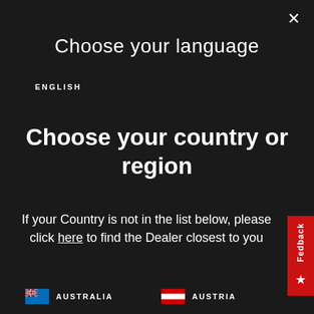Choose your language
ENGLISH
Choose your country or region
If your Country is not in the list below, please click here to find the Dealer closest to you
AUSTRALIA
AUSTRIA